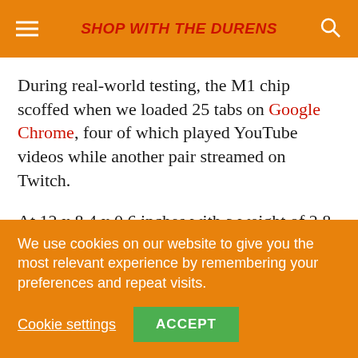SHOP WITH THE DURENS
During real-world testing, the M1 chip scoffed when we loaded 25 tabs on Google Chrome, four of which played YouTube videos while another pair streamed on Twitch.
At 12 x 8.4 x 0.6 inches with a weight of 2.8 pounds, the MacBook Air M1 is as thin as its competitors. It's on par with the weight of the Dell XPS 13 (11.6 x 7.8 x
We use cookies on our website to give you the most relevant experience by remembering your preferences and repeat visits.
Cookie settings   ACCEPT